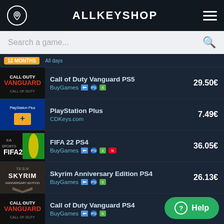ALLKEYSHOP
Search a game...
Call of Duty Vanguard PS5 | BuyGames | 29.50€
PlayStation Plus | CDKeys.com | 7.49€
FIFA 22 PS4 | BuyGames | 36.05€
Skyrim Anniversary Edition PS4 | BuyGames | 26.13€
Call of Duty Vanguard PS4 | BuyGames | 29.50€
FIFA 22 PS5 | BuyGames | 37.53€
Battlefield 2042 PS5 | BuyGames
Ghost of Tsushima PS4